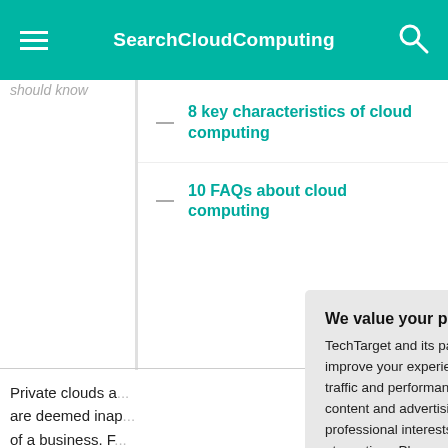SearchCloudComputing
8 key characteristics of cloud computing
10 FAQs about cloud computing
Private clouds a... are deemed inap... of a business. F... provide the level... organization nee... mission-critical w... exceed an organ... be security or re... a multi-tenant en... enterprise might... realize the bene...
We value your privacy.
TechTarget and its partners employ cookies to improve your experience on our site, to analyze traffic and performance, and to serve personalized content and advertising that are relevant to your professional interests. You can manage your settings at any time. Please view our Privacy Policy for more information